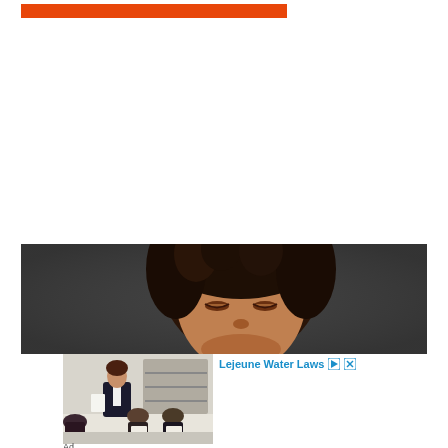[Figure (other): Orange horizontal bar/banner element at top of page]
[Figure (photo): Close-up photo of a woman with dark curly hair looking downward, dark grey background]
[Figure (photo): Advertisement image showing a woman in a blazer presenting to seated audience in an office setting]
Lejeune Water Laws
Ad